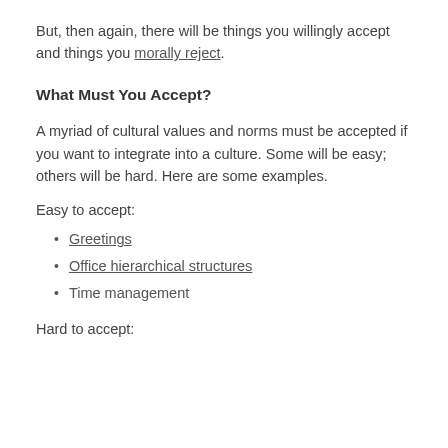But, then again, there will be things you willingly accept and things you morally reject.
What Must You Accept?
A myriad of cultural values and norms must be accepted if you want to integrate into a culture. Some will be easy; others will be hard. Here are some examples.
Easy to accept:
Greetings
Office hierarchical structures
Time management
Hard to accept: